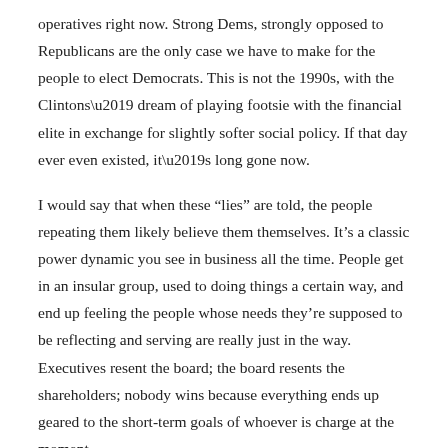operatives right now. Strong Dems, strongly opposed to Republicans are the only case we have to make for the people to elect Democrats. This is not the 1990s, with the Clintons’ dream of playing footsie with the financial elite in exchange for slightly softer social policy. If that day ever even existed, it’s long gone now.
I would say that when these “lies” are told, the people repeating them likely believe them themselves. It’s a classic power dynamic you see in business all the time. People get in an insular group, used to doing things a certain way, and end up feeling the people whose needs they’re supposed to be reflecting and serving are really just in the way. Executives resent the board; the board resents the shareholders; nobody wins because everything ends up geared to the short-term goals of whoever is charge at the moment.